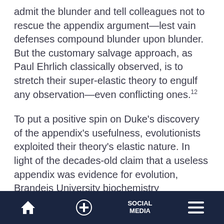admit the blunder and tell colleagues not to rescue the appendix argument—lest vain defenses compound blunder upon blunder. But the customary salvage approach, as Paul Ehrlich classically observed, is to stretch their super-elastic theory to engulf any observation—even conflicting ones.12
To put a positive spin on Duke's discovery of the appendix's usefulness, evolutionists exploited their theory's elastic nature. In light of the decades-old claim that a useless appendix was evidence for evolution, Brandeis University biochemistry
Home | + | SOCIAL MEDIA | Menu